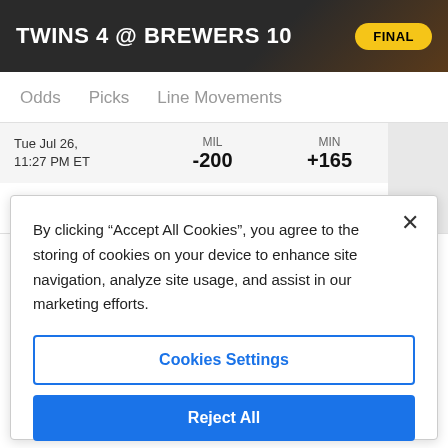TWINS 4 @ BREWERS 10   FINAL
Odds   Picks   Line Movements
| Date | MIL | MIN |  |
| --- | --- | --- | --- |
| Tue Jul 26, 11:27 PM ET | -200 | +165 |  |
| Tue Jul 26, | MIL | MIN |  |
By clicking “Accept All Cookies”, you agree to the storing of cookies on your device to enhance site navigation, analyze site usage, and assist in our marketing efforts.
Cookies Settings
Reject All
Accept All Cookies